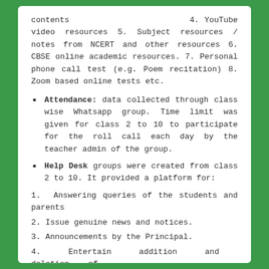contents 4. YouTube video resources 5. Subject resources / notes from NCERT and other resources 6. CBSE online academic resources. 7. Personal phone call test (e.g. Poem recitation) 8. Zoom based online tests etc.
Attendance: data collected through class wise Whatsapp group. Time limit was given for class 2 to 10 to participate for the roll call each day by the teacher admin of the group.
Help Desk groups were created from class 2 to 10. It provided a platform for:
1. Answering queries of the students and parents
2. Issue genuine news and notices.
3. Announcements by the Principal.
4. Entertain addition and deletion of